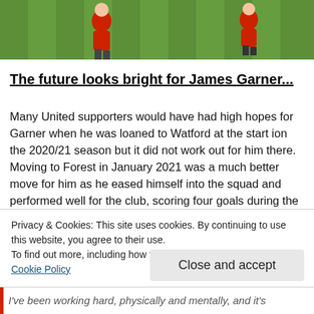[Figure (photo): Sports photo showing football players on a green pitch, players wearing red kit]
The future looks bright for James Garner...
Many United supporters would have had high hopes for Garner when he was loaned to Watford at the start ion the 2020/21 season but it did not work out for him there. Moving to Forest in January 2021 was a much better move for him as he eased himself into the squad and performed well for the club, scoring four goals during the course of the second half of the season. He has come a long way and perhaps needs another season on loan with a lower level Premier League club to get him more first team experience in the top flight of English football.
Privacy & Cookies: This site uses cookies. By continuing to use this website, you agree to their use.
To find out more, including how to control cookies, see here: Cookie Policy
Close and accept
I've been working hard, physically and mentally, and it's